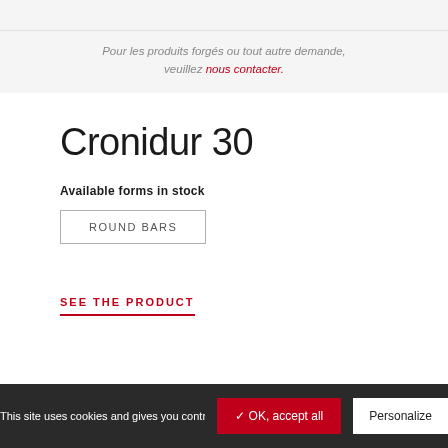Pour les produits forgés ou tout autre demande, veuillez nous contacter.
Cronidur 30
Available forms in stock
ROUND BARS
SEE THE PRODUCT
This site uses cookies and gives you control over what you want to activate
✓ OK, accept all
Personalize